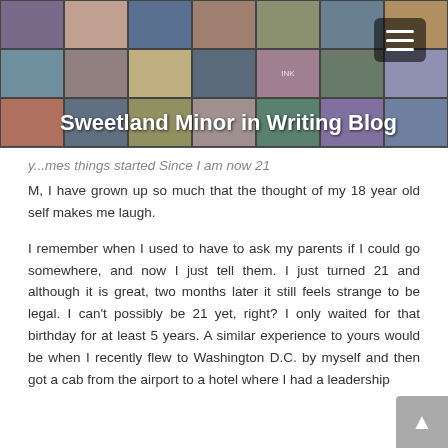[Figure (photo): Blog header banner with photo mosaic collage background showing various people and text fragments]
Sweetland Minor in Writing Blog
y...mes things started Since I am now 21 M, I have grown up so much that the thought of my 18 year old self makes me laugh.
I remember when I used to have to ask my parents if I could go somewhere, and now I just tell them. I just turned 21 and although it is great, two months later it still feels strange to be legal. I can't possibly be 21 yet, right? I only waited for that birthday for at least 5 years. A similar experience to yours would be when I recently flew to Washington D.C. by myself and then got a cab from the airport to a hotel where I had a leadership